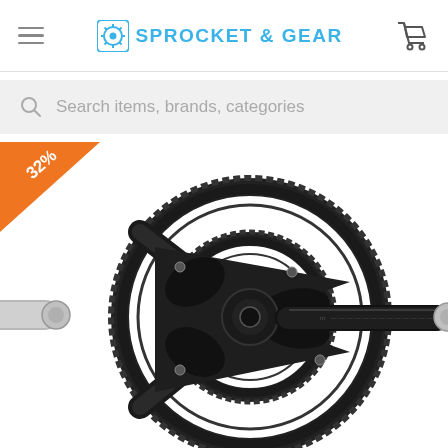Sprocket & Gear — navigation header with hamburger menu and shopping cart
Search items, brands, categories
32%
[Figure (photo): Bicycle crankset with double chainring (road bike chainset), black anodized finish, showing large and small chainrings with crank arm extending to the right, and left crank stub visible on the left side.]